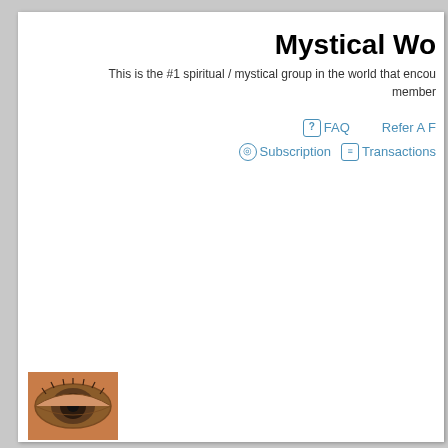Mystical Wo
This is the #1 spiritual / mystical group in the world that encou member
FAQ   Refer A
Subscription   Transactions
[Figure (photo): Close-up photo of a human eye]